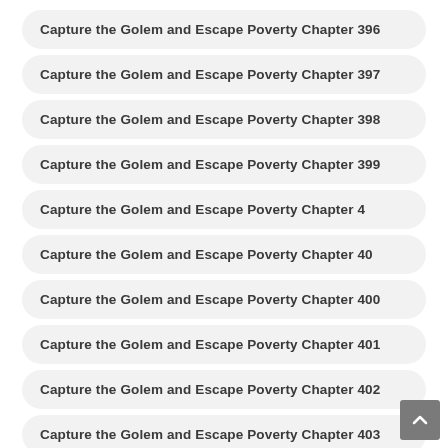Capture the Golem and Escape Poverty Chapter 396
Capture the Golem and Escape Poverty Chapter 397
Capture the Golem and Escape Poverty Chapter 398
Capture the Golem and Escape Poverty Chapter 399
Capture the Golem and Escape Poverty Chapter 4
Capture the Golem and Escape Poverty Chapter 40
Capture the Golem and Escape Poverty Chapter 400
Capture the Golem and Escape Poverty Chapter 401
Capture the Golem and Escape Poverty Chapter 402
Capture the Golem and Escape Poverty Chapter 403
Capture the Golem and Escape Poverty Chapter 404